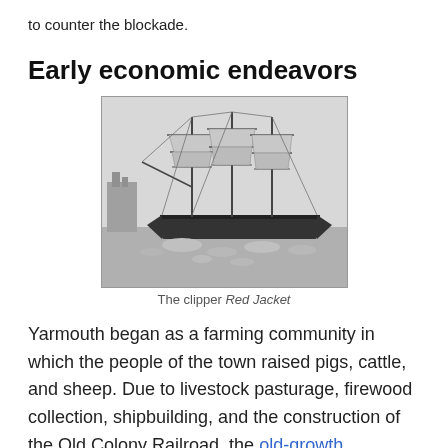to counter the blockade.
Early economic endeavors
[Figure (photo): Black and white illustration of the clipper ship Red Jacket at sea, showing multiple masts with sails. Below the image text reads: Length, 251' | RED JACKET | Tonnage, 2200]
The clipper Red Jacket
Yarmouth began as a farming community in which the people of the town raised pigs, cattle, and sheep. Due to livestock pasturage, firewood collection, shipbuilding, and the construction of the Old Colony Railroad, the old-growth